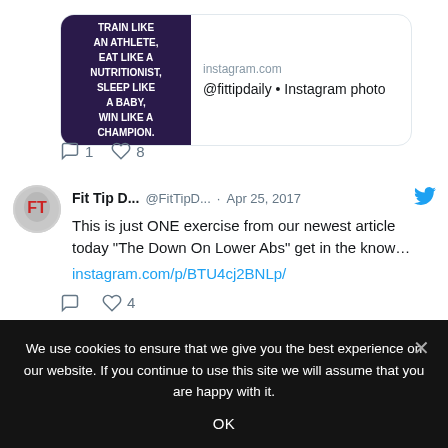[Figure (screenshot): Instagram card preview showing a dark motivational image with text 'Train like an athlete, eat like a nutritionist, sleep like a baby, win like a champion' with instagram.com domain and '@fittipdaily • Instagram photo' title]
1   8
Fit Tip D...  @FitTipD...  · Apr 25, 2017
This is just ONE exercise from our newest article today "The Down On Lower Abs"  get in the know…
instagram.com/p/BTU4cj2BNLp/
4
We use cookies to ensure that we give you the best experience on our website. If you continue to use this site we will assume that you are happy with it.
OK